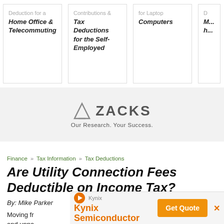[Figure (other): Navigation cards showing related articles: 'Deduction for a Home Office & Telecommuting', 'Contributions & Tax Deductions for the Self-Employed', 'for Laptop Computers', and a partial fourth card]
[Figure (logo): Zacks logo with triangle icon and tagline 'Our Research. Your Success.']
Finance » Tax Information » Tax Deductions
Are Utility Connection Fees Deductible on Income Tax?
By: Mike Parker
Moving fr... acking and unpa... arded